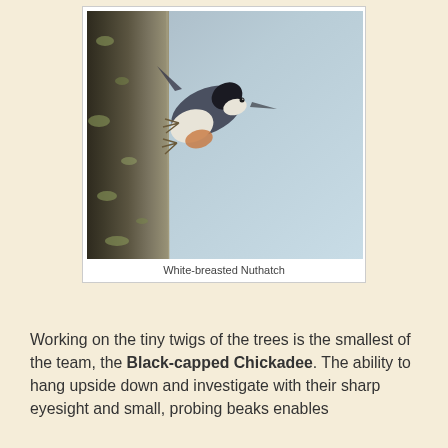[Figure (photo): A White-breasted Nuthatch bird clinging head-down on a lichen-covered tree trunk, with a blurred blue-grey background.]
White-breasted Nuthatch
Working on the tiny twigs of the trees is the smallest of the team, the Black-capped Chickadee. The ability to hang upside down and investigate with their sharp eyesight and small, probing beaks enables